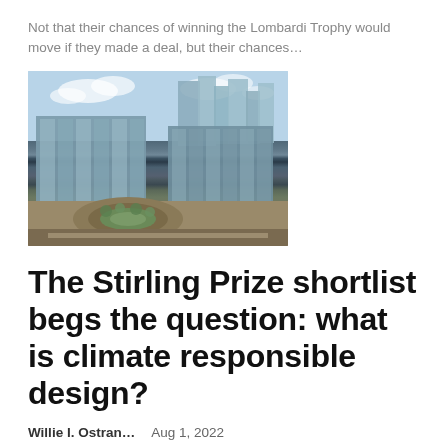Not that their chances of winning the Lombardi Trophy would move if they made a deal, but their chances…
[Figure (photo): Aerial/street-level view of a large modern glass office building complex with a courtyard, surrounded by city skyscrapers and cloudy sky.]
The Stirling Prize shortlist begs the question: what is climate responsible design?
Willie I. Ostran…    Aug 1, 2022
The Stirling Prize is awarded annually to the best new building in the UK, and each year I complained about the unsustainability of the winners. A few years ago, the Royal Institute of British